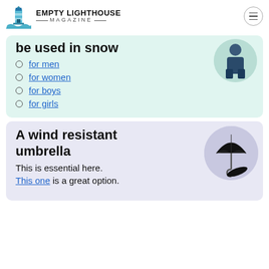EMPTY LIGHTHOUSE MAGAZINE
be used in snow
for men
for women
for boys
for girls
A wind resistant umbrella
This is essential here.
This one is a great option.